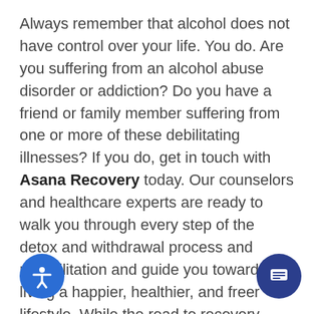Always remember that alcohol does not have control over your life. You do. Are you suffering from an alcohol abuse disorder or addiction? Do you have a friend or family member suffering from one or more of these debilitating illnesses? If you do, get in touch with Asana Recovery today. Our counselors and healthcare experts are ready to walk you through every step of the detox and withdrawal process and rehabilitation and guide you towards living a happier, healthier, and freer lifestyle. While the road to recovery might not be an easy road to travel, we promise to help you step of the way. Take the first step to st y, and safe.